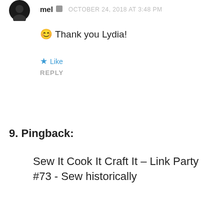[Figure (photo): Circular black avatar image at top left]
mel  OCTOBER 24, 2018 AT 3:48 PM
😊 Thank you Lydia!
★ Like
REPLY
9. Pingback:
Sew It Cook It Craft It – Link Party #73 - Sew historically